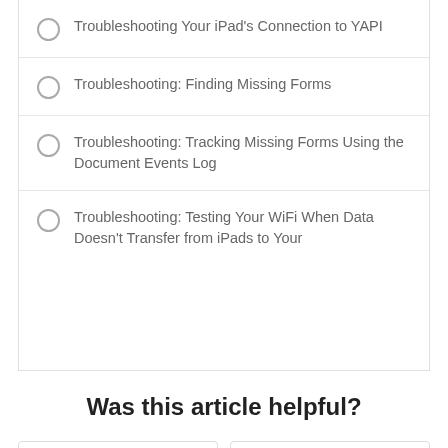Troubleshooting Your iPad's Connection to YAPI
Troubleshooting: Finding Missing Forms
Troubleshooting: Tracking Missing Forms Using the Document Events Log
Troubleshooting: Testing Your WiFi When Data Doesn't Transfer from iPads to Your
Was this article helpful?
Yes
No